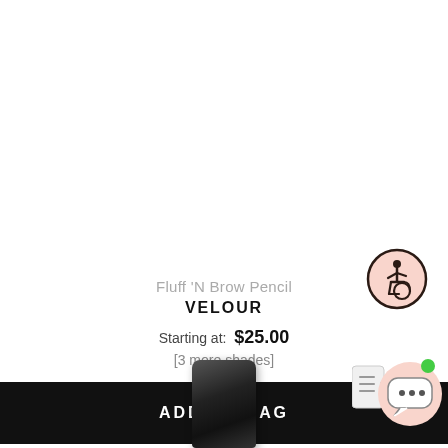Fluff 'N Brow Pencil
VELOUR
Starting at: $25.00
[3 more shades]
ADD TO BAG
[Figure (illustration): Accessibility icon: person in wheelchair inside a pink circle with dark border]
[Figure (illustration): Chat support icon: speech bubble with ellipsis inside a pink circle, with a green dot indicator and a sidebar arrow element]
[Figure (photo): Close-up of a black cylindrical brow pencil cap/barrel, partially cropped at bottom of page]